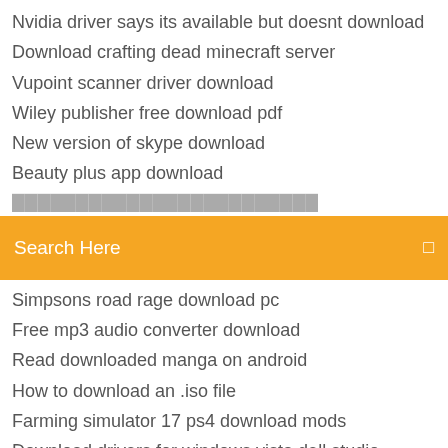Nvidia driver says its available but doesnt download
Download crafting dead minecraft server
Vupoint scanner driver download
Wiley publisher free download pdf
New version of skype download
Beauty plus app download
Search Here
Simpsons road rage download pc
Free mp3 audio converter download
Read downloaded manga on android
How to download an .iso file
Farming simulator 17 ps4 download mods
Download drivers for windows vista dell studio
Download free full version avast license apk android
Cool zombie game for android download
What is downloaded program files
Automatic download of podcasts on android phone